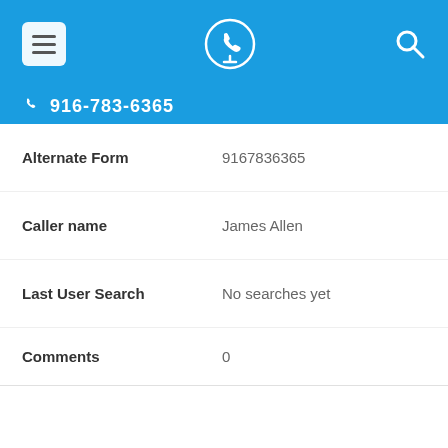916-783-6365 (partial, truncated)
Alternate Form: 9167836365
Caller name: James Allen
Last User Search: No searches yet
Comments: 0
916-783-6993
Alternate Form: 9167836993
Shares | mail | WhatsApp | Facebook